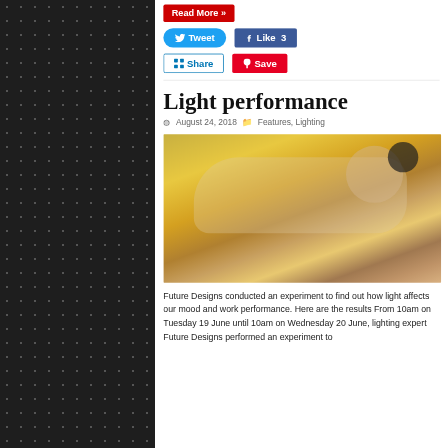[Figure (screenshot): Social sharing buttons: Read More (red), Tweet (blue/Twitter), Like 3 (Facebook blue), Share (LinkedIn), Save (Pinterest red)]
Light performance
August 24, 2018   Features, Lighting
[Figure (photo): Person sleeping on yellow bedding, hugging a teddy bear, wearing a dark headband, photographed indoors]
Future Designs conducted an experiment to find out how light affects our mood and work performance. Here are the results From 10am on Tuesday 19 June until 10am on Wednesday 20 June, lighting expert Future Designs performed an experiment to